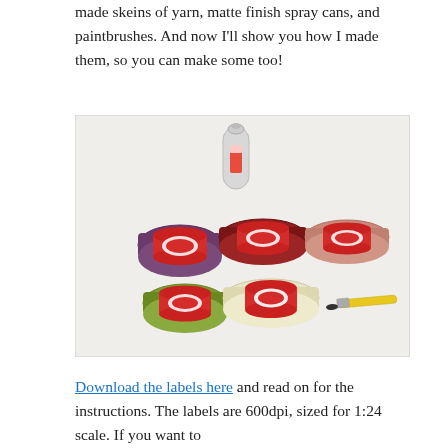made skeins of yarn, matte finish spray cans, and paintbrushes. And now I'll show you how I made them, so you can make some too!
[Figure (photo): Flat lay photo on a white surface showing five small skeins of yarn in various colors (purple, dark red/burgundy, pink/mauve, olive green, cream/white), a small white spray can with a red label, and a small yellow-handled paintbrush.]
Download the labels here and read on for the instructions. The labels are 600dpi, sized for 1:24 scale. If you want to